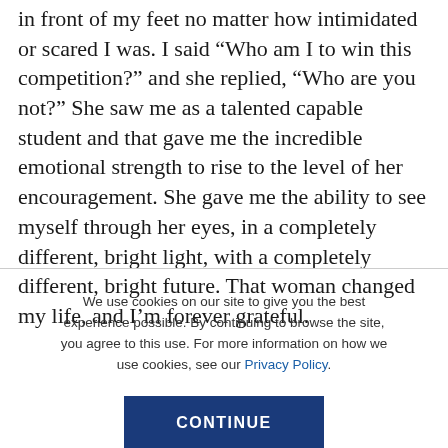show up for the opportunity that the universe laid out in front of my feet no matter how intimidated or scared I was. I said “Who am I to win this competition?” and she replied, “Who are you not?” She saw me as a talented capable student and that gave me the incredible emotional strength to rise to the level of her encouragement. She gave me the ability to see myself through her eyes, in a completely different, bright light, with a completely different, bright future. That woman changed my life, and I’m forever grateful.
We use cookies on our site to give you the best experience possible. By continuing to browse the site, you agree to this use. For more information on how we use cookies, see our Privacy Policy.
CONTINUE